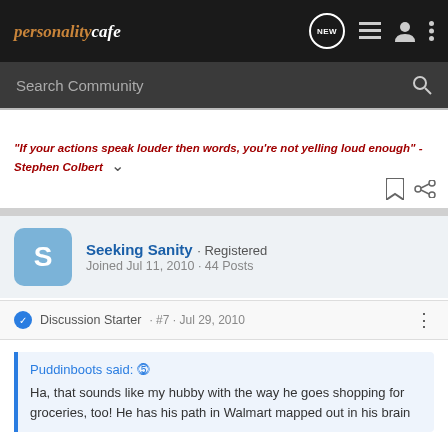personalitycafe | NEW | list | user | menu
Search Community
"If your actions speak louder then words, you're not yelling loud enough" - Stephen Colbert
Seeking Sanity · Registered
Joined Jul 11, 2010 · 44 Posts
Discussion Starter · #7 · Jul 29, 2010
Puddinboots said:
Ha, that sounds like my hubby with the way he goes shopping for groceries, too! He has his path in Walmart mapped out in his brain